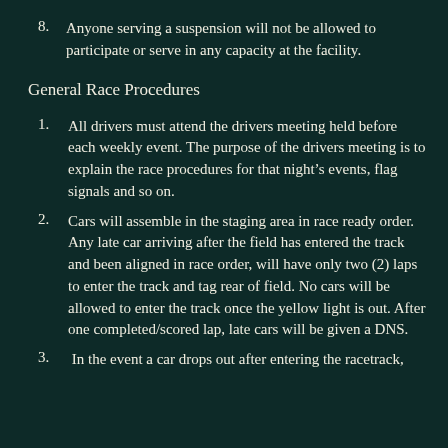8. Anyone serving a suspension will not be allowed to participate or serve in any capacity at the facility.
General Race Procedures
1. All drivers must attend the drivers meeting held before each weekly event. The purpose of the drivers meeting is to explain the race procedures for that night's events, flag signals and so on.
2. Cars will assemble in the staging area in race ready order. Any late car arriving after the field has entered the track and been aligned in race order, will have only two (2) laps to enter the track and tag rear of field. No cars will be allowed to enter the track once the yellow light is out. After one completed/scored lap, late cars will be given a DNS.
3. In the event a car drops out after entering the racetrack,